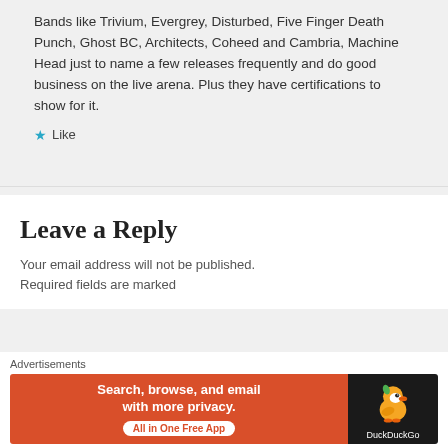Bands like Trivium, Evergrey, Disturbed, Five Finger Death Punch, Ghost BC, Architects, Coheed and Cambria, Machine Head just to name a few releases frequently and do good business on the live arena. Plus they have certifications to show for it.
★ Like
Leave a Reply
Your email address will not be published. Required fields are marked
[Figure (other): DuckDuckGo advertisement banner: orange left panel with text 'Search, browse, and email with more privacy. All in One Free App' and black right panel with DuckDuckGo duck logo and brand name.]